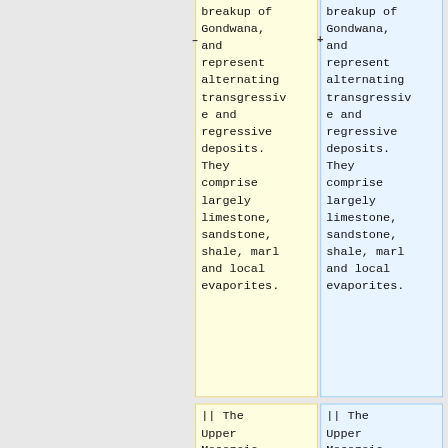| breakup of Gondwana, and represent alternating transgressiv e and regressive deposits. They comprise largely limestone, sandstone, shale, marl and local evaporites. | breakup of Gondwana, and represent alternating transgressiv e and regressive deposits. They comprise largely limestone, sandstone, shale, marl and local evaporites. |
| || The Upper Mesozoic | || The Upper Mesozoic |